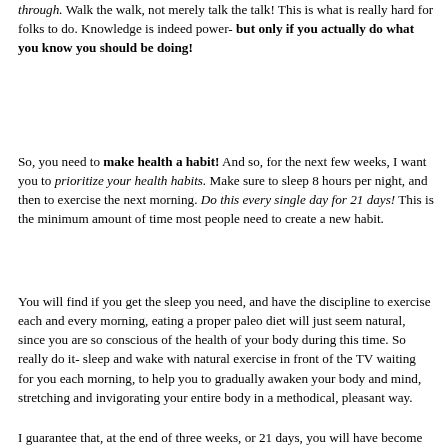through.  Walk the walk, not merely talk the talk!  This is what is really hard for folks to do.  Knowledge is indeed power- but only if you actually do what you know you should be doing!
So, you need to make health a habit!  And so, for the next few weeks, I want you to prioritize your health habits.  Make sure to sleep 8 hours per night, and then to exercise the next morning.  Do this every single day for 21 days!  This is the minimum amount of time most people need to create a new habit.
You will find if you get the sleep you need, and have the discipline to exercise each and every morning, eating a proper paleo diet will just seem natural, since you are so conscious of the health of your body during this time.  So really do it- sleep and wake with natural exercise in front of the TV waiting for you each morning, to help you to gradually awaken your body and mind, stretching and invigorating your entire body in a methodical, pleasant way.
I guarantee that, at the end of three weeks, or 21 days, you will have become addicted to feeling great. So that starts in